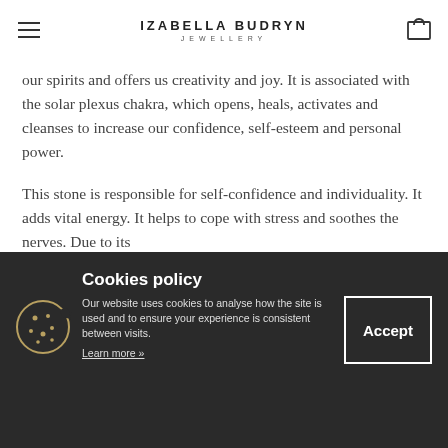IZABELLA BUDRYN JEWELLERY
our spirits and offers us creativity and joy. It is associated with the solar plexus chakra, which opens, heals, activates and cleanses to increase our confidence, self-esteem and personal power.
This stone is responsible for self-confidence and individuality. It adds vital energy. It helps to cope with stress and soothes the nerves. Due to its
Cookies policy
Our website uses cookies to analyse how the site is used and to ensure your experience is consistent between visits. Learn more »